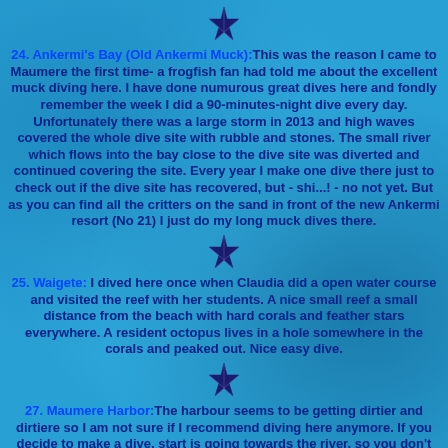[Figure (illustration): Starfish/sea star decorative icon at top of page]
24. Ankermi's Bay (Old Ankermi Muck): This was the reason I came to Maumere the first time- a frogfish fan had told me about the excellent muck diving here. I have done numurous great dives here and fondly remember the week I did a 90-minutes-night dive every day. Unfortunately there was a large storm in 2013 and high waves covered the whole dive site with rubble and stones. The small river which flows into the bay close to the dive site was diverted and continued covering the site. Every year I make one dive there just to check out if the dive site has recovered, but  - shi...! - no not yet. But as you can find all the critters on the sand in front of the new Ankermi resort (No 21) I just do my long muck dives there.
[Figure (illustration): Starfish/sea star decorative icon divider]
25. Waigete: I dived here once when Claudia did a open water course and visited the reef with her students. A nice small reef a small distance from the beach with hard corals and feather stars everywhere. A resident octopus lives in a hole somewhere in the corals and peaked out. Nice easy dive.
[Figure (illustration): Starfish/sea star decorative icon divider]
27. Maumere Harbor: The harbour seems to be getting dirtier and dirtiere so I am not sure if I recommend diving here anymore. If you decide to make a dive, start is going towards the river, so you don't have to be careful about outgoing boats. You dive on a slope of dark volcanic sand with a lot of garbage and dead wood lying around. A true muck site! Plenty of critters are hiding away in the tyres or rusted tin cans, inside shoes and other garbage. We saw several demon stingers fingered dragonets, stonefish, rare species of morey eels and in the upper part of the slope crocodilefishes and